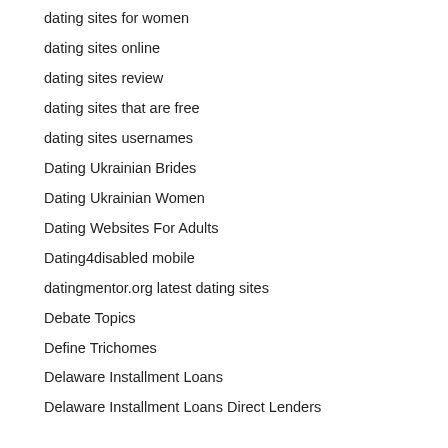dating sites for women
dating sites online
dating sites review
dating sites that are free
dating sites usernames
Dating Ukrainian Brides
Dating Ukrainian Women
Dating Websites For Adults
Dating4disabled mobile
datingmentor.org latest dating sites
Debate Topics
Define Trichomes
Delaware Installment Loans
Delaware Installment Loans Direct Lenders